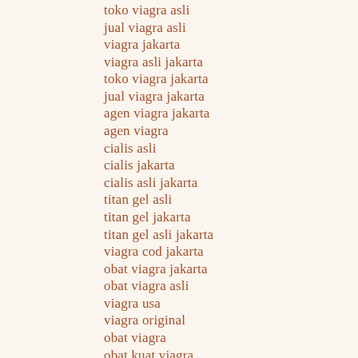toko viagra asli
jual viagra asli
viagra jakarta
viagra asli jakarta
toko viagra jakarta
jual viagra jakarta
agen viagra jakarta
agen viagra
cialis asli
cialis jakarta
cialis asli jakarta
titan gel asli
titan gel jakarta
titan gel asli jakarta
viagra cod jakarta
obat viagra jakarta
obat viagra asli
viagra usa
viagra original
obat viagra
obat kuat viagra
jual cialis
toko cialis